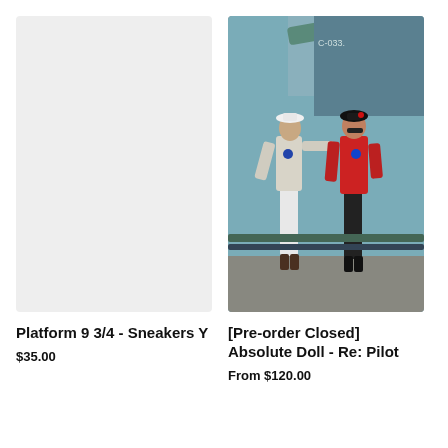[Figure (photo): Light gray placeholder image for sneakers product]
Platform 9 3/4 - Sneakers Y
$35.00
[Figure (photo): Two action figures dressed as pilots standing in front of an aircraft, one in white uniform with white hat, one in red jacket with black beret]
[Pre-order Closed] Absolute Doll - Re: Pilot
From $120.00